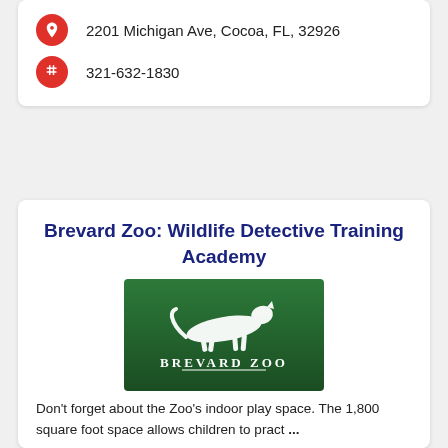2201 Michigan Ave, Cocoa, FL, 32926
321-632-1830
Brevard Zoo: Wildlife Detective Training Academy
[Figure (logo): Brevard Zoo logo — white cheetah silhouette running over text 'BREVARD ZOO' on a dark green gradient background]
Don't forget about the Zoo's indoor play space. The 1,800 square foot space allows children to pract ...
Learn more! →